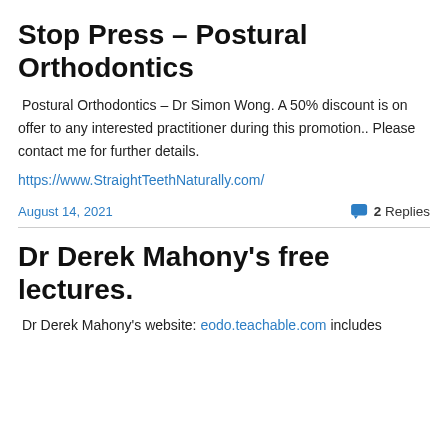Stop Press – Postural Orthodontics
Postural Orthodontics – Dr Simon Wong. A 50% discount is on offer to any interested practitioner during this promotion.. Please contact me for further details.
https://www.StraightTeethNaturally.com/
August 14, 2021   2 Replies
Dr Derek Mahony's free lectures.
Dr Derek Mahony's website: eodo.teachable.com includes